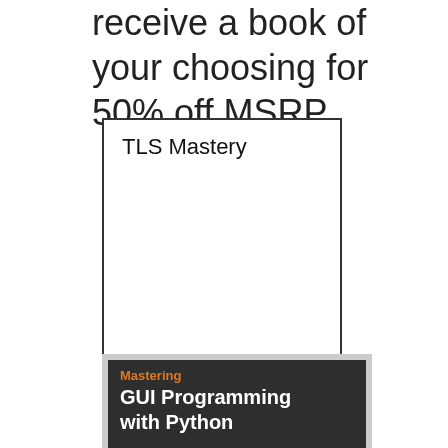receive a book of your choosing for 50% off MSRP.
[Figure (illustration): Book cover placeholder showing 'TLS Mastery' title with white interior and black border]
[Figure (illustration): Book cover for 'Mastering GUI Programming with Python' with dark background, orange 'Mastering' label and white bold title text]